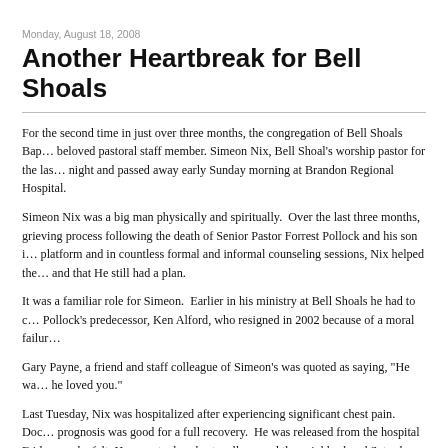Monday, August 18, 2008
Another Heartbreak for Bell Shoals
For the second time in just over three months, the congregation of Bell Shoals Bap... beloved pastoral staff member. Simeon Nix, Bell Shoal's worship pastor for the las... night and passed away early Sunday morning at Brandon Regional Hospital.
Simeon Nix was a big man physically and spiritually. Over the last three months, grieving process following the death of Senior Pastor Forrest Pollock and his son in... platform and in countless formal and informal counseling sessions, Nix helped the... and that He still had a plan.
It was a familiar role for Simeon. Earlier in his ministry at Bell Shoals he had to c... Pollock's predecessor, Ken Alford, who resigned in 2002 because of a moral failur...
Gary Payne, a friend and staff colleague of Simeon's was quoted as saying, "He wa... he loved you."
Last Tuesday, Nix was hospitalized after experiencing significant chest pain. Doc... prognosis was good for a full recovery. He was released from the hospital Friday a... he felt. He even took a short walk around the neighborhood Saturday night with hi...
Late Saturday night, Nix suffered another heart attack and passed away a few hour...
Simeon leaves his wife, Beth, and the two children they adopted as toddlers from R... family was the Bell Shoals congregation, which numbers about 7,000.
Funeral arrangements are pending as of this writing.